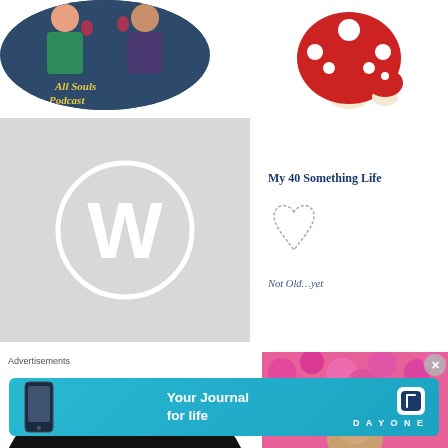[Figure (illustration): All Souls Podcast circular logo with two illustrated women raising glasses of wine, dark blue background with yellow script text]
[Figure (illustration): Cartoon red and white polka-dot mushroom character]
[Figure (logo): WordPress logo: white W in a circle on light grey square background]
[Figure (illustration): My 40 Something Life blog logo with title text, decorative heart drawing, and subtitle Not Old...yet]
[Figure (illustration): Black vinyl record / music logo, top half visible]
[Figure (photo): Person wearing straw hat among bright pink/magenta flowering bushes]
Advertisements
[Figure (infographic): Day One app advertisement: Your Journal for life, cyan/blue banner with app icon]